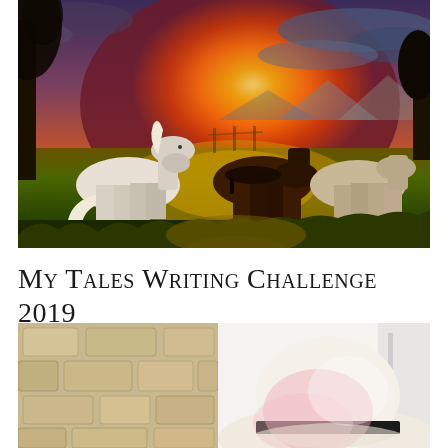[Figure (photo): Three horses grazing in a field at sunset. A white horse on the left, a dark brown horse in the center, and a lighter horse on the right. Golden orange sunset sky with trees silhouetted in the background and mountains in the distance.]
My Tales Writing Challenge 2019
[Figure (photo): A person wearing a wide-brimmed pink and white hat, with a stone wall visible in the background on the left side. Partial view cropped at bottom of page.]